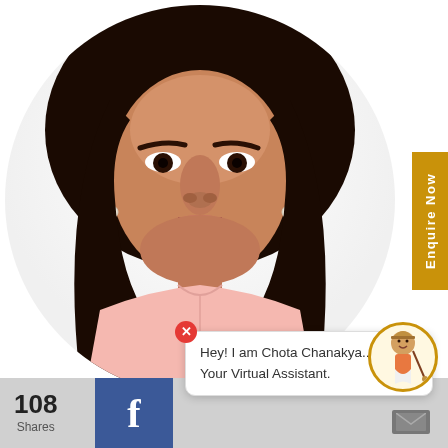[Figure (photo): Circular cropped portrait photo of a young Indian woman with dark hair, wearing a light pink top, posing for a professional profile photo. She has pearl earrings and a neutral expression.]
Enquire Now
Hey! I am Chota Chanakya...
Your Virtual Assistant.
[Figure (illustration): Small cartoon illustration of a person (Chota Chanakya virtual assistant avatar) inside a gold-bordered circular frame]
108
Shares